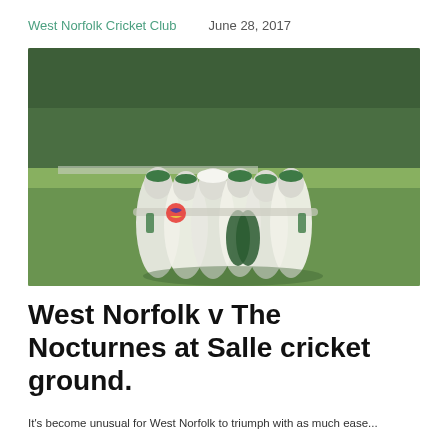West Norfolk Cricket Club   June 28, 2017
[Figure (photo): Cricket team in white uniforms and green caps huddled together in a group embrace on a green cricket ground, with trees and foliage in the background.]
West Norfolk v The Nocturnes at Salle cricket ground.
It's become unusual for West Norfolk to triumph with as much ease...